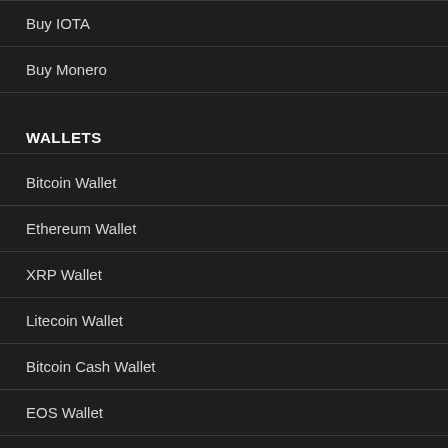Buy IOTA
Buy Monero
WALLETS
Bitcoin Wallet
Ethereum Wallet
XRP Wallet
Litecoin Wallet
Bitcoin Cash Wallet
EOS Wallet
Cardano Wallet